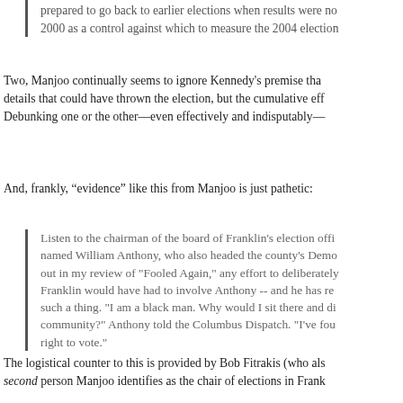prepared to go back to earlier elections when results were not contested. He used 2000 as a control against which to measure the 2004 election…
Two, Manjoo continually seems to ignore Kennedy's premise that it was not any single details that could have thrown the election, but the cumulative effect. Debunking one or the other—even effectively and indisputably—
And, frankly, "evidence" like this from Manjoo is just pathetic:
Listen to the chairman of the board of Franklin's election offi… named William Anthony, who also headed the county's Demo… out in my review of "Fooled Again," any effort to deliberately… Franklin would have had to involve Anthony -- and he has re… such a thing. "I am a black man. Why would I sit there and di… community?" Anthony told the Columbus Dispatch. "I've fou… right to vote."
The logistical counter to this is provided by Bob Fitrakis (who als… second person Manjoo identifies as the chair of elections in Frank…